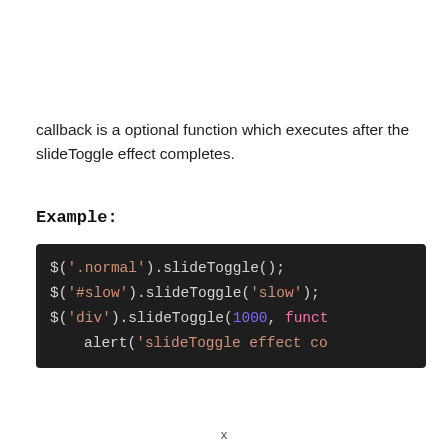callback is a optional function which executes after the slideToggle effect completes.
Example:
[Figure (screenshot): Dark-themed code block showing three jQuery slideToggle examples: $('.normal').slideToggle(); $('#slow').slideToggle('slow'); $('div').slideToggle(1000, funct... and alert('slideToggle effect co...]
x